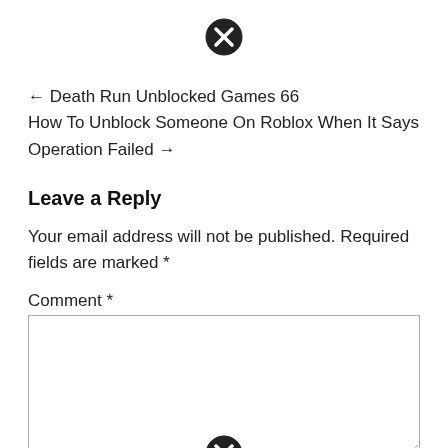[Figure (other): Close/cancel icon (circle with X) at top center of page]
← Death Run Unblocked Games 66
How To Unblock Someone On Roblox When It Says Operation Failed →
Leave a Reply
Your email address will not be published. Required fields are marked *
Comment *
[Figure (other): Comment text area (empty input box)]
[Figure (other): Close/cancel icon (circle with X) at bottom center of page]